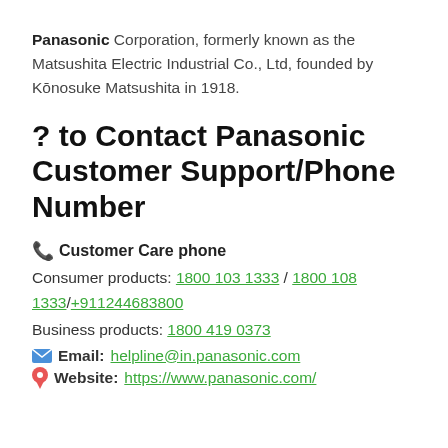Panasonic Corporation, formerly known as the Matsushita Electric Industrial Co., Ltd, founded by Kōnosuke Matsushita in 1918.
? to Contact Panasonic Customer Support/Phone Number
📞 Customer Care phone
Consumer products: 1800 103 1333 / 1800 108 1333/+911244683800
Business products: 1800 419 0373
✉ Email: helpline@in.panasonic.com
📍 Website: https://www.panasonic.com/